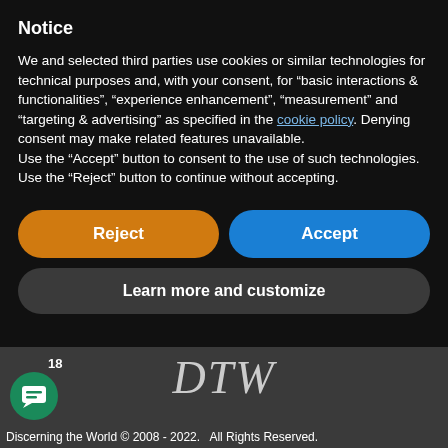Notice
We and selected third parties use cookies or similar technologies for technical purposes and, with your consent, for “basic interactions & functionalities”, “experience enhancement”, “measurement” and “targeting & advertising” as specified in the cookie policy. Denying consent may make related features unavailable.
Use the “Accept” button to consent to the use of such technologies. Use the “Reject” button to continue without accepting.
[Figure (other): Orange rounded button labeled Reject and blue rounded button labeled Accept, side by side]
[Figure (other): Dark gray rounded button labeled Learn more and customize]
[Figure (logo): DTW logo in italic serif font, chat icon with badge 18, footer text: Discerning the World 2008-2022. All Rights Reserved.]
Discerning the World © 2008 - 2022.   All Rights Reserved.